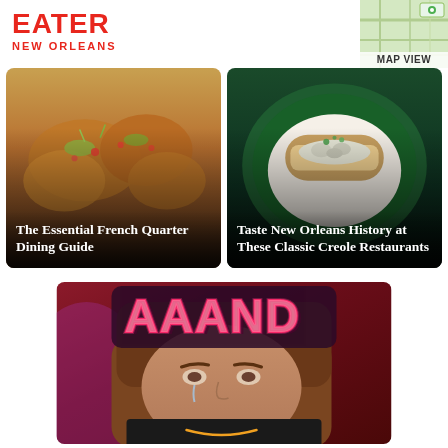EATER NEW ORLEANS
[Figure (photo): Map thumbnail showing street map for MAP VIEW button]
[Figure (photo): Food photo showing fried chicken with toppings for The Essential French Quarter Dining Guide card]
The Essential French Quarter Dining Guide
[Figure (photo): Seafood dish on dark plate for Taste New Orleans History at These Classic Creole Restaurants card]
Taste New Orleans History at These Classic Creole Restaurants
[Figure (photo): Person crying with AAAND neon sign overlay and Amazon device]